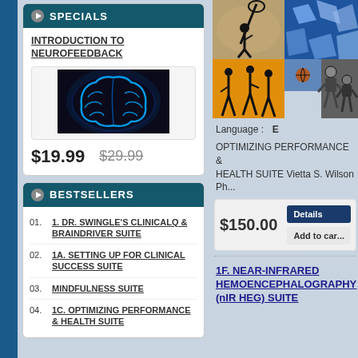SPECIALS
INTRODUCTION TO NEUROFEEDBACK
[Figure (illustration): Glowing blue brain illustration on dark background]
$19.99   $29.99
BESTSELLERS
01. 1. DR. SWINGLE'S CLINICALQ & BRAINDRIVER SUITE
02. 1A. SETTING UP FOR CLINICAL SUCCESS SUITE
03. MINDFULNESS SUITE
04. 1C. OPTIMIZING PERFORMANCE & HEALTH SUITE
[Figure (photo): Sports photo collage showing lacrosse player, basketball silhouettes, ice/water sports, football players]
Language :
OPTIMIZING PERFORMANCE & HEALTH SUITE Vietta S. Wilson Ph...
$150.00
Details
Add to car...
1F. NEAR-INFRARED HEMOENCEPHALOGRAPHY (nIR HEG) SUITE